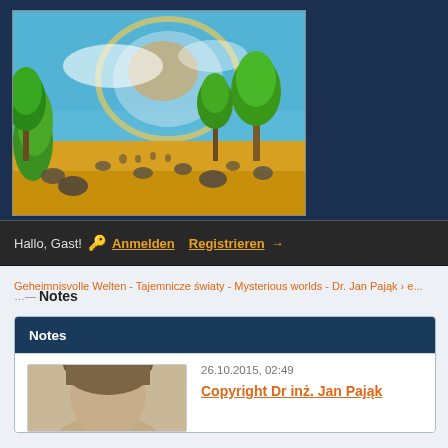[Figure (illustration): Painting of a landscape with green trees, golden meadow with scattered rocks, and a blue sky with a glowing circular light or moon. Artistic style, oil painting-like.]
Hallo, Gast! 🔑 Anmelden   Registrieren →
Geheimnisvolle Welten - Tajemnicze światy - Mysterious worlds - Dr. Jan Pająk › e...
Notes
Notes
26.10.2015, 02:49
Copyright Dr inż. Jan Pająk